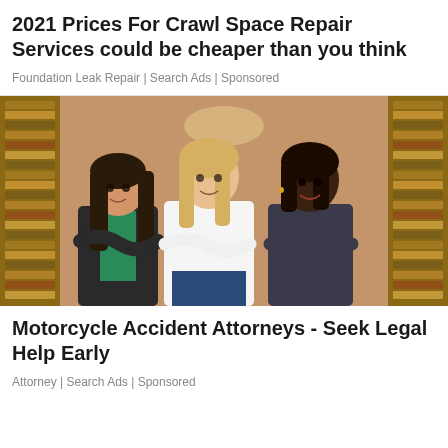2021 Prices For Crawl Space Repair Services could be cheaper than you think
Foundation Leak Repair | Search Ads | Sponsored
[Figure (photo): Three professional women standing with arms crossed in a library setting. The woman on the left wears a black blazer with green top, the woman in the center wears a white blazer, and the woman on the right wears a dark blazer.]
Motorcycle Accident Attorneys - Seek Legal Help Early
Attorney | Search Ads | Sponsored